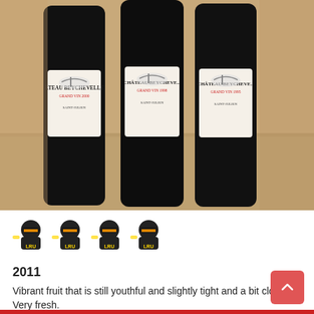[Figure (photo): Three bottles of Château Beychevelle wine (Grand Vin 2000, 1998, and 1995, Saint-Julien) standing on a table, photographed in an elegant room setting. Each bottle has a white label featuring a classic sailing ship illustration.]
[Figure (illustration): Four ninja emoji icons in a row, used as a rating system]
2011
Vibrant fruit that is still youthful and slightly tight and a bit closed. Very fresh.